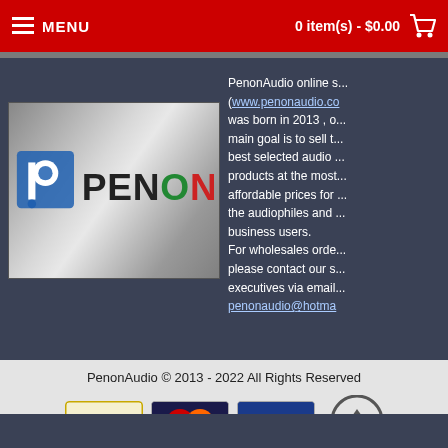MENU   0 item(s) - $0.00
[Figure (logo): Penon Audio logo on metallic silver background with blue P icon and colorful PENON text]
PenonAudio online store (www.penonaudio.com) was born in 2013 , our main goal is to sell the best selected audio products at the most affordable prices for the audiophiles and business users. For wholesales orders, please contact our sales executives via email penonaudio@hotmail.com
PenonAudio © 2013 - 2022 All Rights Reserved
[Figure (logo): PayPal payment logo]
[Figure (logo): MasterCard payment logo]
[Figure (logo): Visa Electron payment logo]